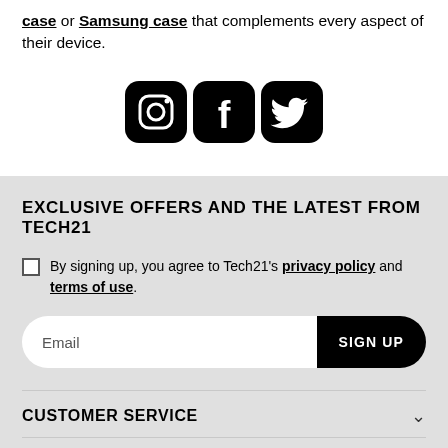case or Samsung case that complements every aspect of their device.
[Figure (illustration): Three social media icons: Instagram, Facebook, Twitter — black rounded square icons]
EXCLUSIVE OFFERS AND THE LATEST FROM TECH21
By signing up, you agree to Tech21's privacy policy and terms of use.
Email  SIGN UP
CUSTOMER SERVICE
ABOUT TECH21